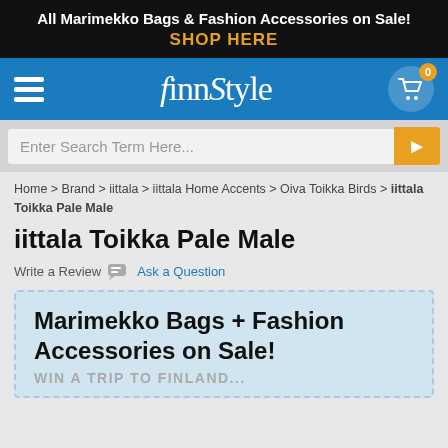All Marimekko Bags & Fashion Accessories on Sale! SHOP HERE
[Figure (screenshot): FinnStyle navigation bar with hamburger menu, logo, and shopping cart with badge showing 0]
[Figure (screenshot): Search bar with placeholder text 'Enter Search Term Here...' and orange search button]
Home > Brand > iittala > iittala Home Accents > Oiva Toikka Birds > iittala Toikka Pale Male
iittala Toikka Pale Male
Write a Review  Ask a Question
Marimekko Bags + Fashion Accessories on Sale! WIN A TRIP TO FINLAND...